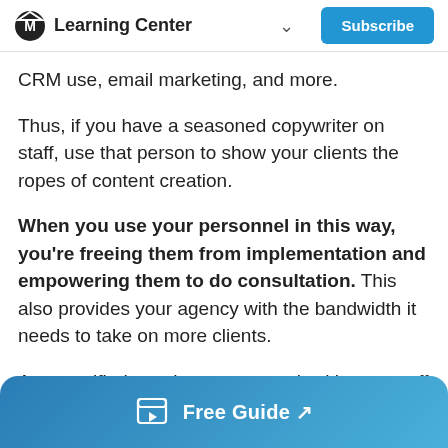Learning Center | Subscribe
CRM use, email marketing, and more.
Thus, if you have a seasoned copywriter on staff, use that person to show your clients the ropes of content creation.
When you use your personnel in this way, you're freeing them from implementation and empowering them to do consultation. This also provides your agency with the bandwidth it needs to take on more clients.
As a certified coach, you can work with your staff
Free Guide ↗